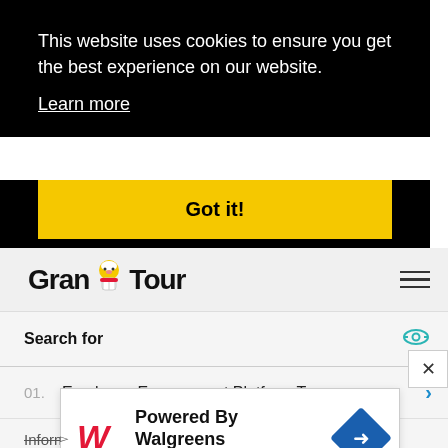This website uses cookies to ensure you get the best experience on our website.
Learn more
Got it!
[Figure (logo): Grand Tour website logo with chef mascot illustration]
Search for
01. Employee Engagement Platform Top
Information Eosinophilic Asthma
[Figure (screenshot): Walgreens Photo advertisement banner: Powered By Walgreens, Walgreens Photo, with Walgreens W logo and blue diamond navigation icon]